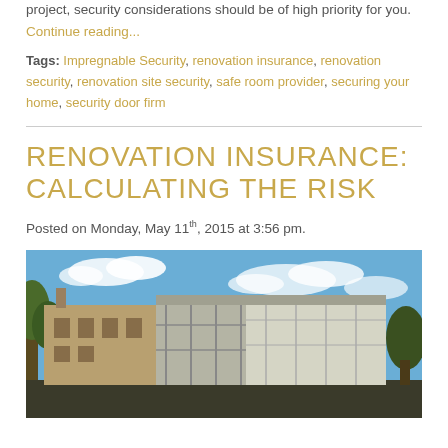project, security considerations should be of high priority for you.
Continue reading...
Tags: Impregnable Security, renovation insurance, renovation security, renovation site security, safe room provider, securing your home, security door firm
RENOVATION INSURANCE: CALCULATING THE RISK
Posted on Monday, May 11th, 2015 at 3:56 pm.
[Figure (photo): A building under renovation with scaffolding and sheeting, blue sky in the background, trees on the left side.]